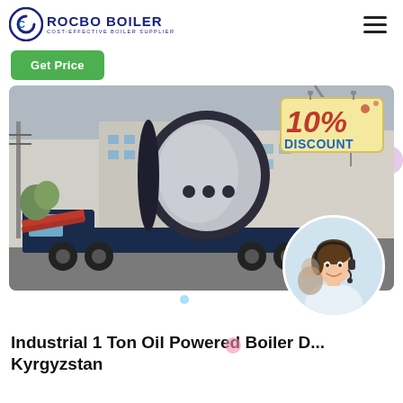[Figure (logo): Rocbo Boiler logo with circular C icon and text 'ROCBO BOILER - COST-EFFECTIVE BOILER SUPPLIER']
Get Price
[Figure (photo): Industrial boiler on a flatbed truck in a factory yard, with a 10% DISCOUNT badge overlay and a customer service representative circle image in the bottom right]
Industrial 1 Ton Oil Powered Boiler D... Kyrgyzstan